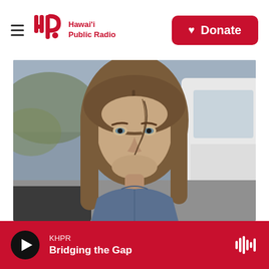Hawai'i Public Radio | Donate
[Figure (photo): Close-up portrait of a young woman with long straight light brown hair, blue eyes, wearing a denim jacket, photographed outdoors with a blurred vehicle in the background.]
KHPR — Bridging the Gap (audio player bar)